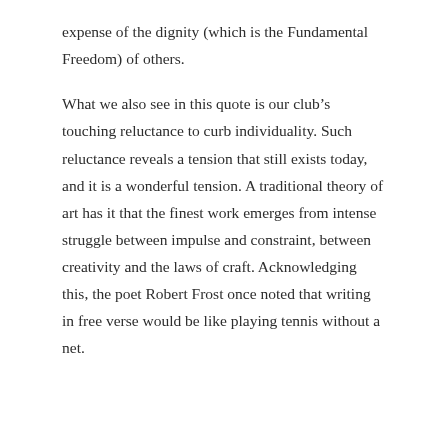expense of the dignity (which is the Fundamental Freedom) of others.
What we also see in this quote is our club’s touching reluctance to curb individuality. Such reluctance reveals a tension that still exists today, and it is a wonderful tension. A traditional theory of art has it that the finest work emerges from intense struggle between impulse and constraint, between creativity and the laws of craft. Acknowledging this, the poet Robert Frost once noted that writing in free verse would be like playing tennis without a net.